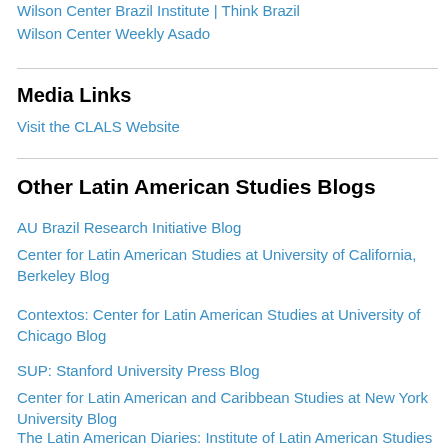Wilson Center Brazil Institute | Think Brazil
Wilson Center Weekly Asado
Media Links
Visit the CLALS Website
Other Latin American Studies Blogs
AU Brazil Research Initiative Blog
Center for Latin American Studies at University of California, Berkeley Blog
Contextos: Center for Latin American Studies at University of Chicago Blog
SUP: Stanford University Press Blog
Center for Latin American and Caribbean Studies at New York University Blog
The Latin American Diaries: Institute of Latin American Studies at the School of Advanced Studies, University of London Blog